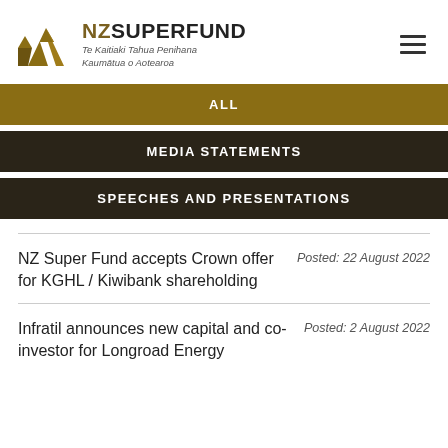[Figure (logo): NZ Super Fund logo with golden angular bird/arrow graphic and text 'NZSUPERFUND Te Kaitiaki Tahua Penihana Kaumātua o Aotearoa']
ALL
MEDIA STATEMENTS
SPEECHES AND PRESENTATIONS
NZ Super Fund accepts Crown offer for KGHL / Kiwibank shareholding
Posted: 22 August 2022
Infratil announces new capital and co-investor for Longroad Energy
Posted: 2 August 2022